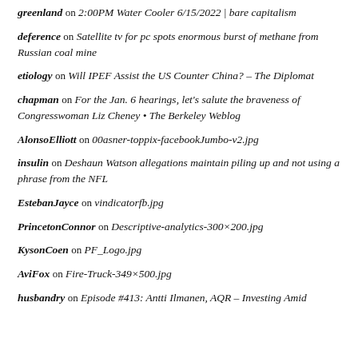greenland on 2:00PM Water Cooler 6/15/2022 | bare capitalism
deference on Satellite tv for pc spots enormous burst of methane from Russian coal mine
etiology on Will IPEF Assist the US Counter China? – The Diplomat
chapman on For the Jan. 6 hearings, let's salute the braveness of Congresswoman Liz Cheney • The Berkeley Weblog
AlonsoElliott on 00asner-toppix-facebookJumbo-v2.jpg
insulin on Deshaun Watson allegations maintain piling up and not using a phrase from the NFL
EstebanJayce on vindicatorfb.jpg
PrincetonConnor on Descriptive-analytics-300×200.jpg
KysonCoen on PF_Logo.jpg
AviFox on Fire-Truck-349×500.jpg
husbandry on Episode #413: Antti Ilmanen, AQR – Investing Amid